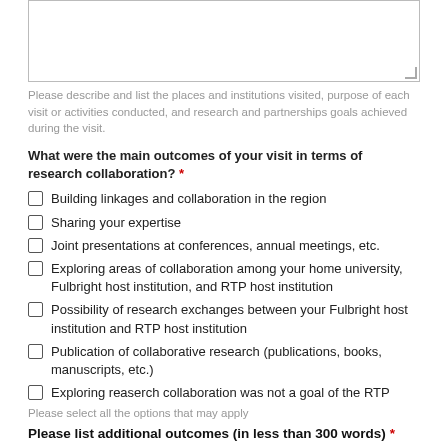[Figure (other): Empty textarea input box with resize handle]
Please describe and list the places and institutions visited, purpose of each visit or activities conducted, and research and partnerships goals achieved during the visit.
What were the main outcomes of your visit in terms of research collaboration? *
Building linkages and collaboration in the region
Sharing your expertise
Joint presentations at conferences, annual meetings, etc.
Exploring areas of collaboration among your home university, Fulbright host institution, and RTP host institution
Possibility of research exchanges between your Fulbright host institution and RTP host institution
Publication of collaborative research (publications, books, manuscripts, etc.)
Exploring reaserch collaboration was not a goal of the RTP
Please select all the options that may apply
Please list additional outcomes (in less than 300 words) *